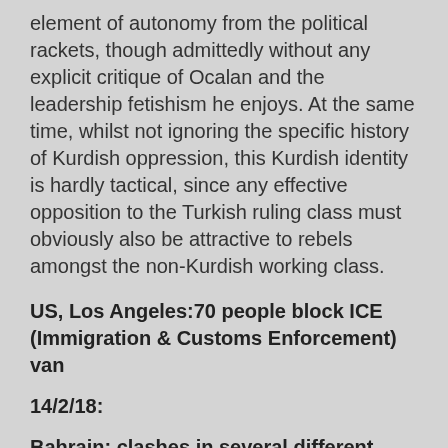element of autonomy from the political rackets, though admittedly without any explicit critique of Ocalan and the leadership fetishism he enjoys. At the same time, whilst not ignoring the specific history of Kurdish oppression, this Kurdish identity is hardly tactical, since any effective opposition to the Turkish ruling class must obviously also be attractive to rebels amongst the non-Kurdish working class.
US, Los Angeles:70 people block ICE (Immigration & Customs Enforcement) van
14/2/18:
Bahrain: clashes in several different parts of the country on 7th anniversary of uprising that began during the Arab Spring
I don't  normally put up stuff about Bahrain, mainly because there ahave been clashes